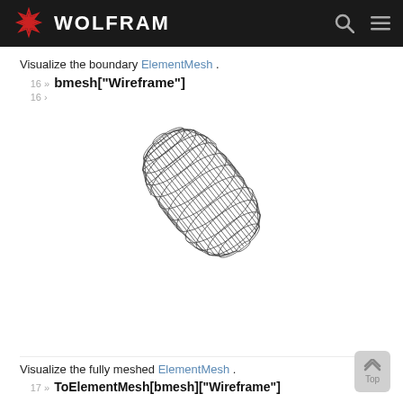WOLFRAM
Visualize the boundary ElementMesh .
16 » bmesh["Wireframe"]
[Figure (engineering-diagram): 3D wireframe rendering of a capsule/cylinder shape with hemispherical ends, shown in perspective view. The wireframe consists of many thin black lines forming the mesh structure of the boundary element mesh.]
Visualize the fully meshed ElementMesh .
17 » ToElementMesh[bmesh]["Wireframe"]